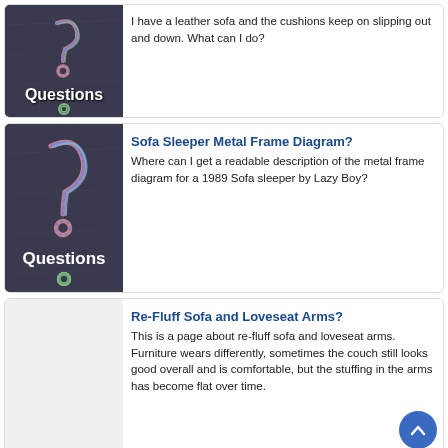[Figure (photo): Chalkboard with a question mark drawn in chalk and the word 'Questions' written in white chalk text]
I have a leather sofa and the cushions keep on slipping out and down. What can I do?
[Figure (photo): Chalkboard with a question mark drawn in chalk and the word 'Questions' written in white chalk text]
Sofa Sleeper Metal Frame Diagram?
Where can I get a readable description of the metal frame diagram for a 1989 Sofa sleeper by Lazy Boy?
Re-Fluff Sofa and Loveseat Arms?
This is a page about re-fluff sofa and loveseat arms. Furniture wears differently, sometimes the couch still looks good overall and is comfortable, but the stuffing in the arms has become flat over time.